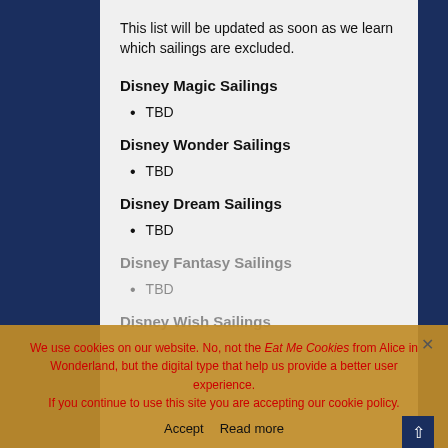This list will be updated as soon as we learn which sailings are excluded.
Disney Magic Sailings
TBD
Disney Wonder Sailings
TBD
Disney Dream Sailings
TBD
Disney Fantasy Sailings
TBD
Disney Wish Sailings
We use cookies on our website. No, not the Eat Me Cookies from Alice in Wonderland, but the digital type that help us provide a better user experience. If you continue to use this site you are accepting our cookie policy.